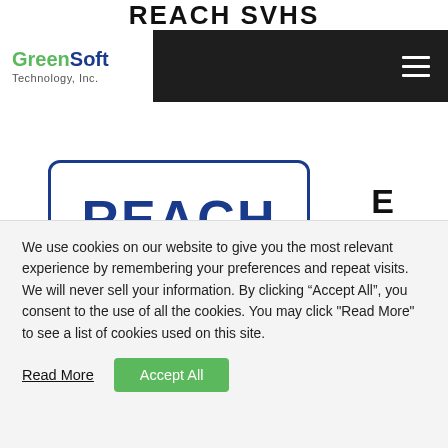REACH SVHS
[Figure (logo): GreenSoft Technology, Inc. logo with green 'GreenSoft' and blue 'Technology, Inc.' text, alongside a black navigation bar with hamburger menu icon]
[Figure (logo): REACH logo: blue text 'REACH' inside a blue rounded-rectangle border with a thick blue underline bar, and a large letter 'E' to the right]
We use cookies on our website to give you the most relevant experience by remembering your preferences and repeat visits. We will never sell your information. By clicking “Accept All”, you consent to the use of all the cookies. You may click "Read More" to see a list of cookies used on this site.
Read More
Accept All